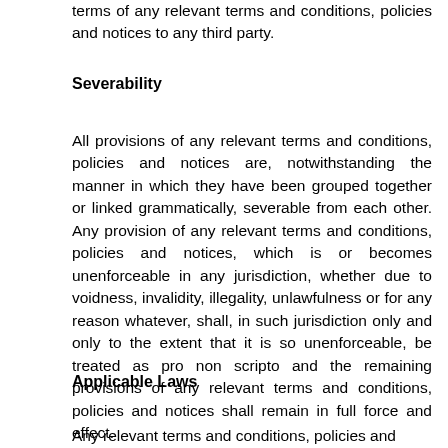terms of any relevant terms and conditions, policies and notices to any third party.
Severability
All provisions of any relevant terms and conditions, policies and notices are, notwithstanding the manner in which they have been grouped together or linked grammatically, severable from each other. Any provision of any relevant terms and conditions, policies and notices, which is or becomes unenforceable in any jurisdiction, whether due to voidness, invalidity, illegality, unlawfulness or for any reason whatever, shall, in such jurisdiction only and only to the extent that it is so unenforceable, be treated as pro non scripto and the remaining provisions of any relevant terms and conditions, policies and notices shall remain in full force and effect.
Applicable Laws
Any relevant terms and conditions, policies and